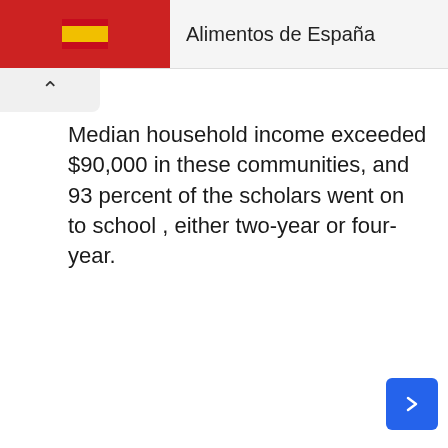[Figure (screenshot): Red banner with Spanish flag icon at top left, and 'Alimentos de España' text at top right on light grey background]
Median household income exceeded $90,000 in these communities, and 93 percent of the scholars went on to school , either two-year or four-year.